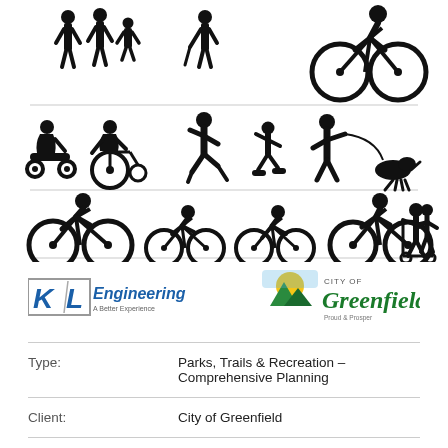[Figure (illustration): Silhouette illustrations of various park and trail users: pedestrians, cyclists of different ages, person with mobility scooter, person in wheelchair, runners, inline skater, person walking dog, children on small bikes, person on kick scooter. Three rows arranged horizontally with dividing lines.]
[Figure (logo): KL Engineering logo with blue italic text and tagline 'A Better Experience']
[Figure (logo): City of Greenfield logo with mountain/sun icon and green italic text]
| Type: | Parks, Trails & Recreation – Comprehensive Planning |
| Client: | City of Greenfield |
| KL's Role: | Prime Consultant |